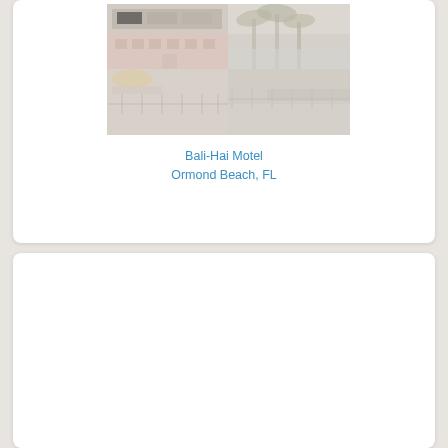[Figure (photo): Composite photo of Bali-Hai Motel showing the motel building with pink/orange facade, palm trees, and beach/waterfront area. Faded, vintage-style image.]
Bali-Hai Motel
Ormond Beach, FL